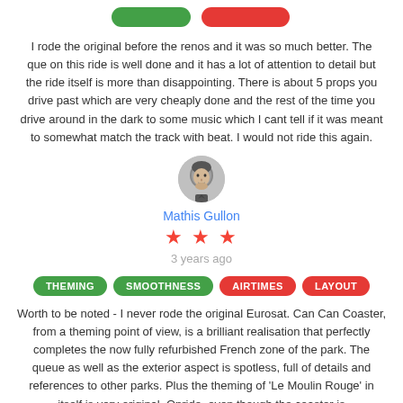[Figure (other): Green and red pill-shaped buttons at the top of the page]
I rode the original before the renos and it was so much better. The que on this ride is well done and it has a lot of attention to detail but the ride itself is more than disappointing. There is about 5 props you drive past which are very cheaply done and the rest of the time you drive around in the dark to some music which I cant tell if it was meant to somewhat match the track with beat. I would not ride this again.
[Figure (photo): Avatar/profile image of reviewer Mathis Gullon - grayscale illustrated portrait]
Mathis Gullon
[Figure (other): 3 red star rating icons]
3 years ago
THEMING SMOOTHNESS AIRTIMES LAYOUT
Worth to be noted - I never rode the original Eurosat. Can Can Coaster, from a theming point of view, is a brilliant realisation that perfectly completes the now fully refurbished French zone of the park. The queue as well as the exterior aspect is spotless, full of details and references to other parks. Plus the theming of 'Le Moulin Rouge' in itself is very original. Onride, even though the coaster is